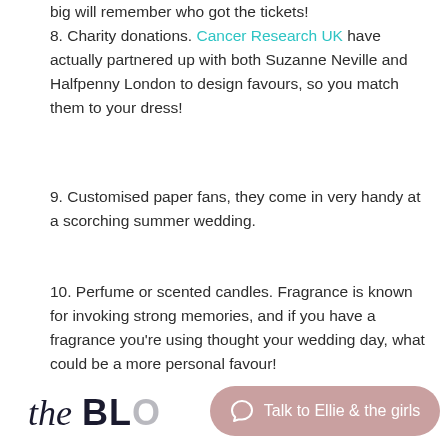big will remember who got the tickets!
8. Charity donations. Cancer Research UK have actually partnered up with both Suzanne Neville and Halfpenny London to design favours, so you match them to your dress!
9. Customised paper fans, they come in very handy at a scorching summer wedding.
10. Perfume or scented candles. Fragrance is known for invoking strong memories, and if you have a fragrance you're using thought your wedding day, what could be a more personal favour!
the BLO  Talk to Ellie & the girls